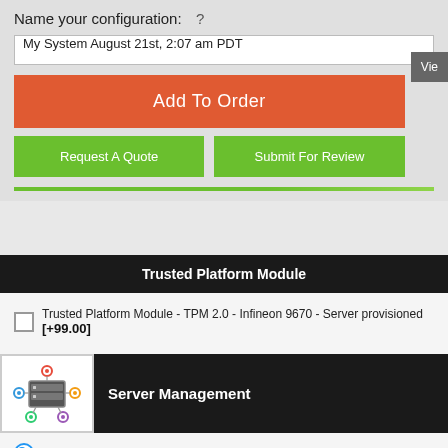Name your configuration:   ?
My System August 21st, 2:07 am PDT
Add To Order
Request A Quote
Submit For Review
Trusted Platform Module
Trusted Platform Module - TPM 2.0 - Infineon 9670 - Server provisioned   [+99.00]
[Figure (logo): Server management icon showing server rack with colored network connection nodes]
Server Management
Supermicro Update Manager (SUM) (OOB Management Package)